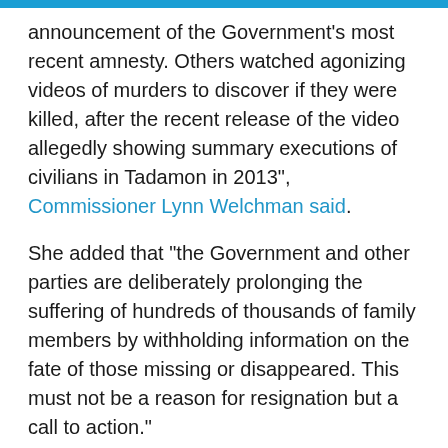announcement of the Government's most recent amnesty. Others watched agonizing videos of murders to discover if they were killed, after the recent release of the video allegedly showing summary executions of civilians in Tadamon in 2013", Commissioner Lynn Welchman said.
She added that “the Government and other parties are deliberately prolonging the suffering of hundreds of thousands of family members by withholding information on the fate of those missing or disappeared. This must not be a reason for resignation but a call to action.”
Since March 18, 2011, a civil war erupted in Syria as the Syrian regime carried out a fierce campaign against protests condemning human rights violations in the country.
Over the past years, the Syrian regime granted citizenship to a large number of Iranian groups to take part in its war